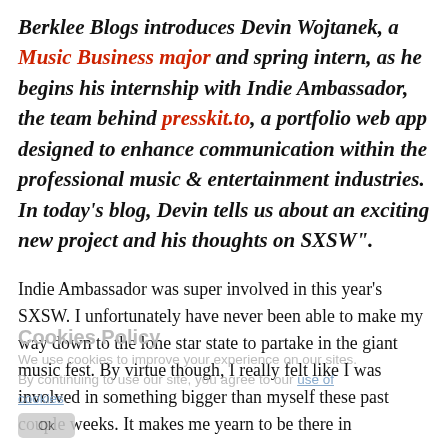Berklee Blogs introduces Devin Wojtanek, a Music Business major and spring intern, as he begins his internship with Indie Ambassador, the team behind presskit.to, a portfolio web app designed to enhance communication within the professional music & entertainment industries. In today's blog, Devin tells us about an exciting new project and his thoughts on SXSW".
Indie Ambassador was super involved in this year's SXSW. I unfortunately have never been able to make my way down to the lone star state to partake in the giant music fest. By virtue though, I really felt like I was involved in something bigger than myself these past couple weeks. It makes me yearn to be there in